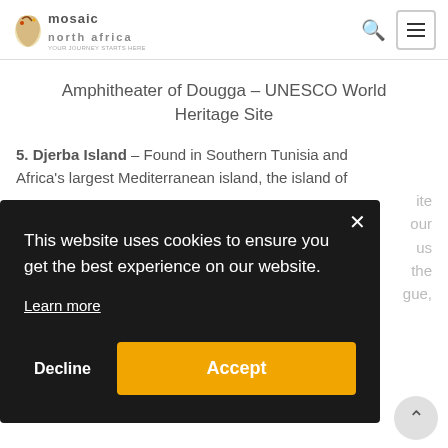mosaic NORTH AFRICA
Amphitheater of Dougga – UNESCO World Heritage Site
5. Djerba Island – Found in Southern Tunisia and Africa's largest Mediterranean island, the island of [... partial text ...] ite [...] our [...] us [...] the [...] gue,
This website uses cookies to ensure you get the best experience on our website.
Learn more
Decline
Accept